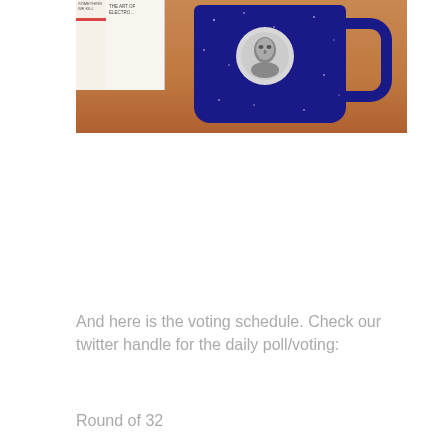[Figure (photo): A dark navy blue speckled mug with a face/portrait medallion on it, sitting on a wooden shelf in front of books including one titled 'THE ART OF ELECTRO...']
And here is the voting schedule. Check our twitter handle for the daily poll/voting:
Round of 32